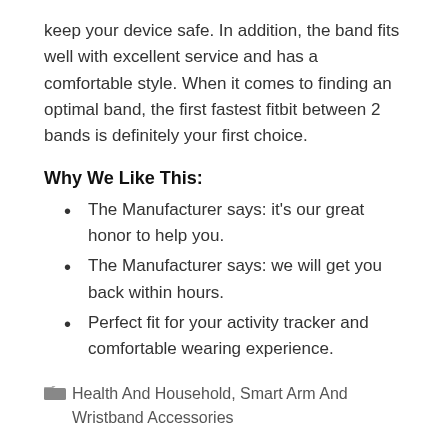keep your device safe. In addition, the band fits well with excellent service and has a comfortable style. When it comes to finding an optimal band, the first fastest fitbit between 2 bands is definitely your first choice.
Why We Like This:
The Manufacturer says: it’s our great honor to help you.
The Manufacturer says: we will get you back within hours.
Perfect fit for your activity tracker and comfortable wearing experience.
Health And Household, Smart Arm And Wristband Accessories